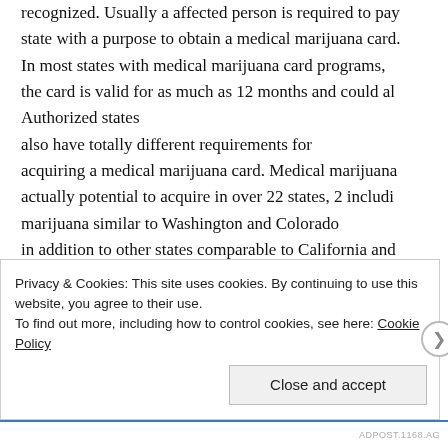recognized. Usually a affected person is required to pay state with a purpose to obtain a medical marijuana card. In most states with medical marijuana card programs, the card is valid for as much as 12 months and could al Authorized states also have totally different requirements for acquiring a medical marijuana card. Medical marijuana actually potential to acquire in over 22 states, 2 includi marijuana similar to Washington and Colorado in addition to other states comparable to California and
Franklin is already operating in Colorado, Delaware, M its Garden State Dispensary was rated highest among a received licenses, in response to CEO John Pohlhaus,
Privacy & Cookies: This site uses cookies. By continuing to use this website, you agree to their use.
To find out more, including how to control cookies, see here: Cookie Policy
Close and accept